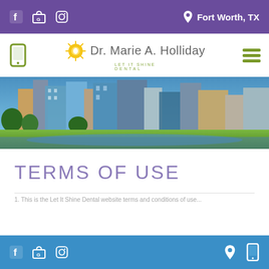Fort Worth, TX — Social/contact icons top bar (purple)
[Figure (logo): Let It Shine Dental logo with sun icon and text 'Dr. Marie A. Holliday']
[Figure (photo): Panoramic cityscape photo of Fort Worth, TX skyline with park and river in foreground]
TERMS OF USE
1. This is the Let It Shine Dental website terms and...
Social icons, location pin, mobile icon — bottom blue bar